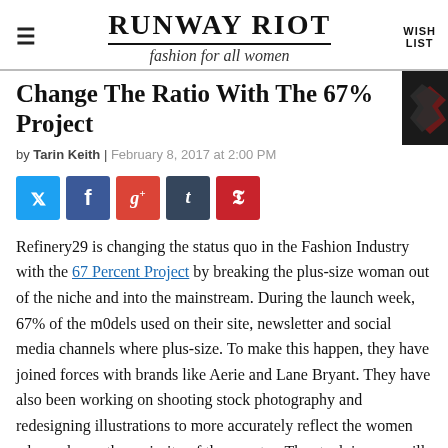RUNWAY RIOT — fashion for all women
Change The Ratio With The 67% Project
by Tarin Keith | February 8, 2017 at 2:00 PM
[Figure (other): Social share buttons: Twitter, Facebook, Google+, Tumblr, Pinterest]
Refinery29 is changing the status quo in the Fashion Industry with the 67 Percent Project by breaking the plus-size woman out of the niche and into the mainstream. During the launch week, 67% of the m0dels used on their site, newsletter and social media channels where plus-size. To make this happen, they have joined forces with brands like Aerie and Lane Bryant. They have also been working on shooting stock photography and redesigning illustrations to more accurately reflect the women who make up the majority of the country. The stock images will be available